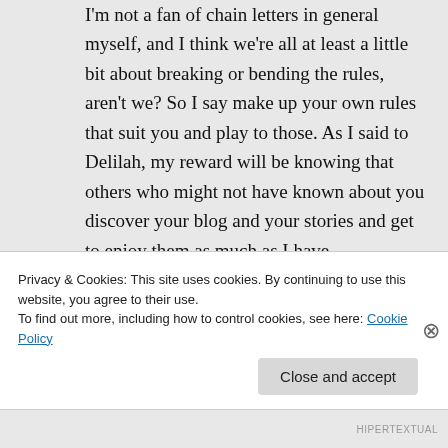I'm not a fan of chain letters in general myself, and I think we're all at least a little bit about breaking or bending the rules, aren't we? So I say make up your own rules that suit you and play to those. As I said to Delilah, my reward will be knowing that others who might not have known about you discover your blog and your stories and get to enjoy them as much as I have.
★ Like
Privacy & Cookies: This site uses cookies. By continuing to use this website, you agree to their use.
To find out more, including how to control cookies, see here: Cookie Policy
Close and accept
HIPERTEXTUAL